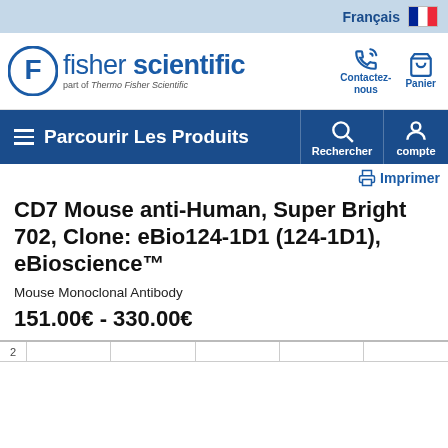Français
[Figure (logo): Fisher Scientific logo — circular F badge and 'fisher scientific' wordmark, 'part of Thermo Fisher Scientific' subtitle]
Contactez-nous
Panier
Parcourir Les Produits
Rechercher
compte
Imprimer
CD7 Mouse anti-Human, Super Bright 702, Clone: eBio124-1D1 (124-1D1), eBioscience™
Mouse Monoclonal Antibody
151.00€ - 330.00€